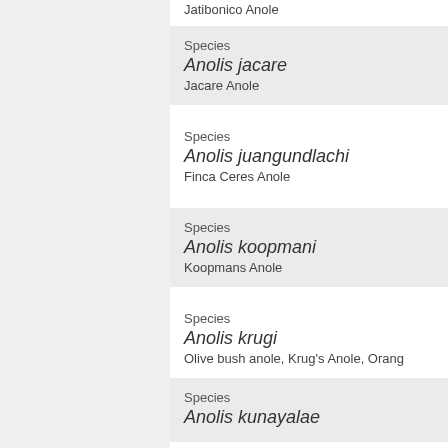Jatibonico Anole
Species
Anolis jacare
Jacare Anole
Species
Anolis juangundlachi
Finca Ceres Anole
Species
Anolis koopmani
Koopmans Anole
Species
Anolis krugi
Olive bush anole, Krug's Anole, Orang...
Species
Anolis kunayalae
Species